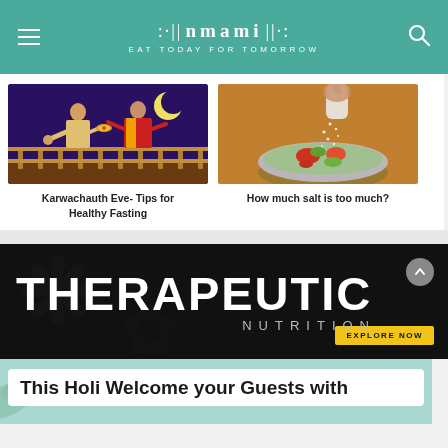nmami — EAT TODAY FOR TOMORROW
[Figure (photo): Illustration of a couple performing Karwachauth ritual under moonlight in traditional Indian attire]
Karwachauth Eve- Tips for Healthy Fasting
[Figure (photo): Person sprinkling salt into a glass bowl of salad]
How much salt is too much?
[Figure (infographic): Dark banner with large white text THERAPEUTIC and subtext NUTRITION, with yellow EXPLORE NOW button]
This Holi Welcome your Guests with